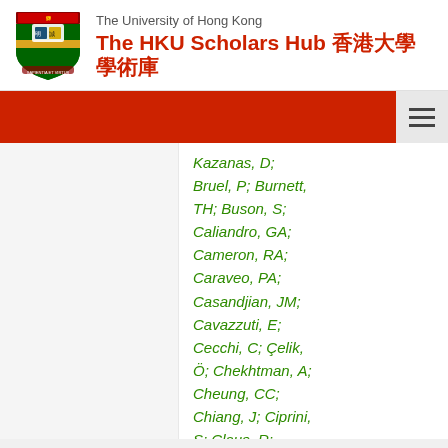The University of Hong Kong — The HKU Scholars Hub 香港大學學術庫
Kazanas, D; Bruel, P; Burnett, TH; Buson, S; Caliandro, GA; Cameron, RA; Caraveo, PA; Casandjian, JM; Cavazzuti, E; Cecchi, C; Çelik, Ö; Chekhtman, A; Cheung, CC; Chiang, J; Ciprini, S; Claus, R; CohenTanugi, J; Colafrancesco, S; Cominsky, LR; Conrad, J;